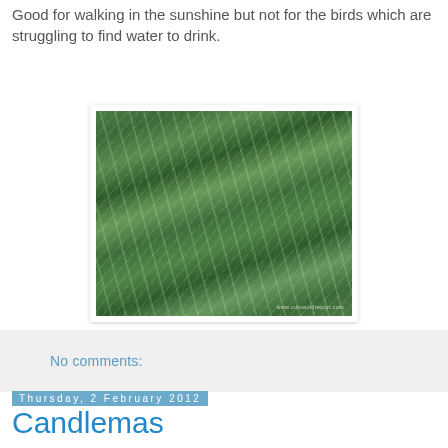Good for walking in the sunshine but not for the birds which are struggling to find water to drink.
[Figure (photo): Close-up photograph of green frost-covered grass blades with dew or ice crystals. Watermark reads www.cotswoldreport.com]
No comments:
Thursday, 2 February 2012
Candlemas